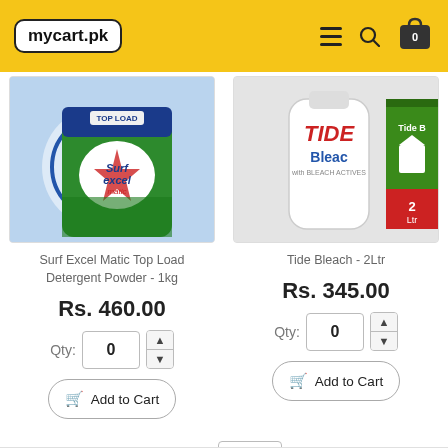mycart.pk
[Figure (photo): Surf Excel Matic Top Load Detergent Powder 1kg product image on blue background]
Surf Excel Matic Top Load Detergent Powder - 1kg
Rs. 460.00
Qty: 0
Add to Cart
[Figure (photo): Tide Bleach 2Ltr product image with white bottle and green/red label on light background]
Tide Bleach - 2Ltr
Rs. 345.00
Qty: 0
Add to Cart
Show: 24